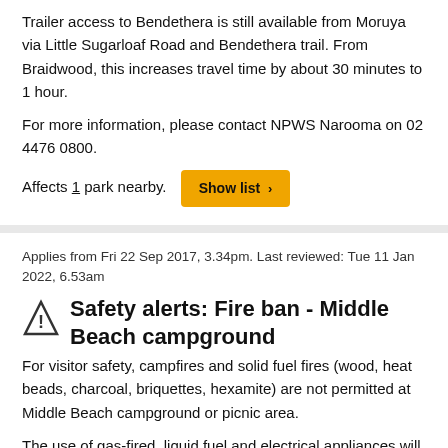Trailer access to Bendethera is still available from Moruya via Little Sugarloaf Road and Bendethera trail. From Braidwood, this increases travel time by about 30 minutes to 1 hour.
For more information, please contact NPWS Narooma on 02 4476 0800.
Affects 1 park nearby.
Applies from Fri 22 Sep 2017, 3.34pm. Last reviewed: Tue 11 Jan 2022, 6.53am
Safety alerts: Fire ban - Middle Beach campground
For visitor safety, campfires and solid fuel fires (wood, heat beads, charcoal, briquettes, hexamite) are not permitted at Middle Beach campground or picnic area.
The use of gas-fired, liquid fuel and electrical appliances will be permitted where:
The appliance is under the direct control of an adult
The appliance is placed or located in an area where there is no combustible material within 2m
There is an adequate water supply to extinguish fire, should it